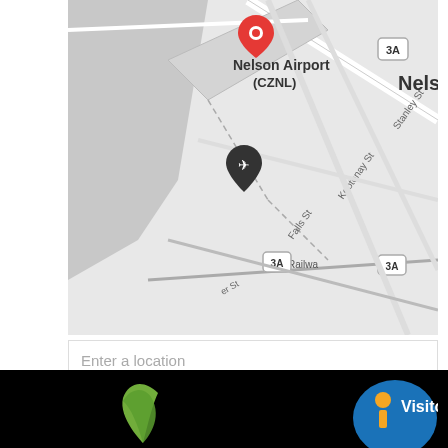[Figure (map): Google Maps screenshot showing Nelson Airport (CZNL) with a red location pin, an airport icon, and surrounding streets including Kootenay St, Falls St, Stanley St, Railway, labeled road 3A, and partial city name 'Nels']
Enter a location
Get Directions
[Figure (logo): Green leaf logo partially visible at bottom left on black background]
[Figure (logo): Blue circular Visitor Centre logo with orange 'i' icon and white text 'Visitor' partially visible at bottom right on black background]